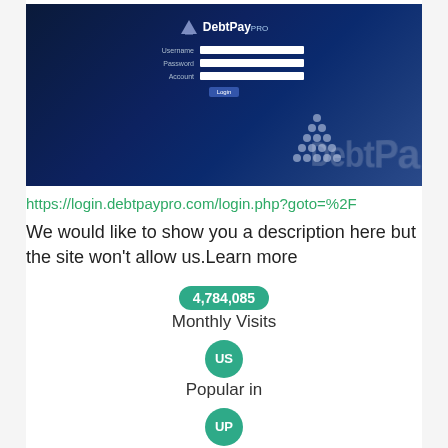[Figure (screenshot): Screenshot of DebtPayPro login page showing a dark blue background with the DebtPayPro logo, login form fields (Username, Password, Account), a Login button, and a 3D perspective view of DebtPay branding with dot pattern grid in the lower right.]
https://login.debtpaypro.com/login.php?goto=%2F
We would like to show you a description here but the site won't allow us.Learn more
4,784,085
Monthly Visits
US
Popular in
UP
Service Status
5h ago